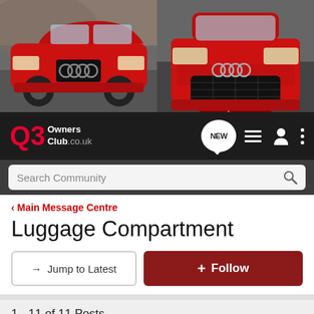[Figure (photo): Banner showing two red Audi Q3 cars side by side on a road]
Q3 Owners Club .co.uk — navigation bar with NEW, list, user, and menu icons; Search Community search bar
< Main Message Centre
Luggage Compartment
→ Jump to Latest   ⊕ Follow
1 - 11 of 11 Posts
simiewimie · Registered
Joined Aug 20, 2012 · 10 Posts